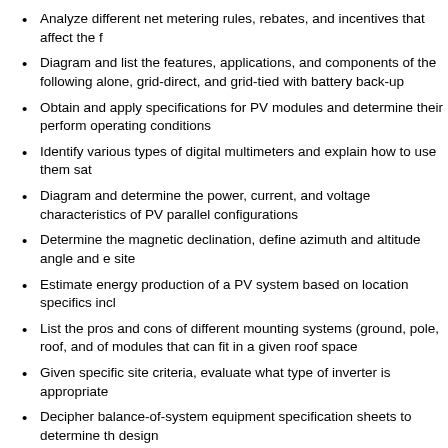Analyze different net metering rules, rebates, and incentives that affect the f
Diagram and list the features, applications, and components of the following alone, grid-direct, and grid-tied with battery back-up
Obtain and apply specifications for PV modules and determine their perform operating conditions
Identify various types of digital multimeters and explain how to use them sat
Diagram and determine the power, current, and voltage characteristics of PV parallel configurations
Determine the magnetic declination, define azimuth and altitude angle and e site
Estimate energy production of a PV system based on location specifics incl
List the pros and cons of different mounting systems (ground, pole, roof, and of modules that can fit in a given roof space
Given specific site criteria, evaluate what type of inverter is appropriate
Decipher balance-of-system equipment specification sheets to determine th design
Design a residential grid-direct system including the array, inverter, circuit co
Define equipment grounding, system grounding, and components and condu
Identify the following wires and components on schematics of residential gri equipment grounding conductors, ungrounded conductors, grounded condu the AC and DC system grounds